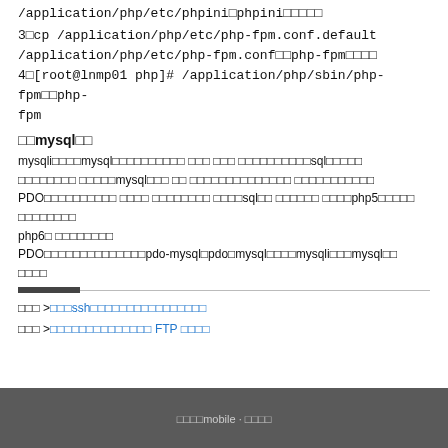/application/php/etc/phpini□phpini□□□□□
3□cp /application/php/etc/php-fpm.conf.default /application/php/etc/php-fpm.conf□□php-fpm□□□□
4□[root@lnmp01 php]# /application/php/sbin/php-fpm□□php-fpm
□□mysql□□
mysqli□□□□mysql□□□□□□□□□□ □□□ □□□ □□□□□□□□□□sql□□□□□ □□□□□□□□ □□□□□mysql□□□ □□ □□□□□□□□□□□□□□ □□□□□□□□□□□
PDO□□□□□□□□□□ □□□□ □□□□□□□□ □□□□sql□□ □□□□□□ □□□□php5□□□□□ □□□□□□□□ php6□ □□□□□□□□
PDO□□□□□□□□□□□□□□pdo-mysql□pdo□mysql□□□□mysqli□□□mysql□□ □□□□
□□□□
□□□ >□□□ssh□□□□□□□□□□□□□□□□□□
□□□ >□□□□□□□□□□□□□□ FTP □□□□
□□□□mobile · □□□□